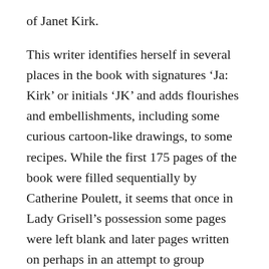of Janet Kirk.
This writer identifies herself in several places in the book with signatures ‘Ja: Kirk’ or initials ‘JK’ and adds flourishes and embellishments, including some curious cartoon-like drawings, to some recipes. While the first 175 pages of the book were filled sequentially by Catherine Poulett, it seems that once in Lady Grisell’s possession some pages were left blank and later pages written on perhaps in an attempt to group similar types of receipts together, as many of those that Janet Kirk has been asked to copy out in this group are remedies rather than culinary recipes.
In Lady Grisell’s account book, with the date January 1706 and ‘Mellerstain’ written in the margin (the family’s most frequent residence was in Edinburgh at